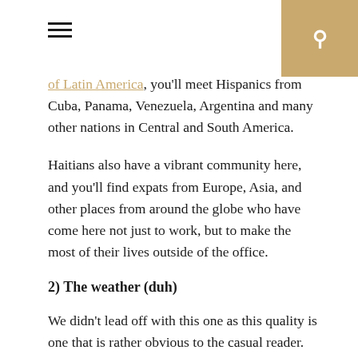☰  🔍
of Latin America, you'll meet Hispanics from Cuba, Panama, Venezuela, Argentina and many other nations in Central and South America.
Haitians also have a vibrant community here, and you'll find expats from Europe, Asia, and other places from around the globe who have come here not just to work, but to make the most of their lives outside of the office.
2) The weather (duh)
We didn't lead off with this one as this quality is one that is rather obvious to the casual reader. However, it is one that simply can't be ignored.